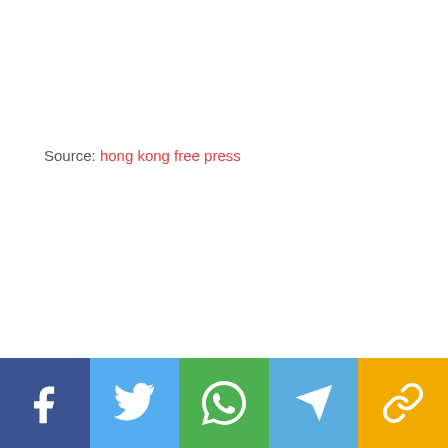Source: hong kong free press
[Figure (infographic): Social sharing buttons bar at bottom: Facebook (dark blue), Twitter (light blue), WhatsApp (green), Telegram (light blue), Link/share (yellow/gold)]